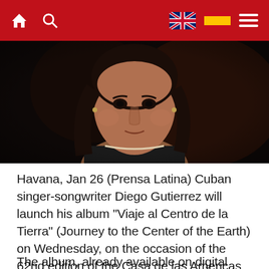Navigation bar with home, search, UK flag, Spain flag, and menu icons on red background
[Figure (photo): Portrait of Cuban singer-songwriter Diego Gutierrez, a man with long dark hair, wearing a dark sleeveless top and a necklace, photographed against a dark background]
Havana, Jan 26 (Prensa Latina) Cuban singer-songwriter Diego Gutierrez will launch his album "Viaje al Centro de la Tierra" (Journey to the Center of the Earth) on Wednesday, on the occasion of the 62nd edition of the Casa de las Americas Literary Award.
The album, already available on digital